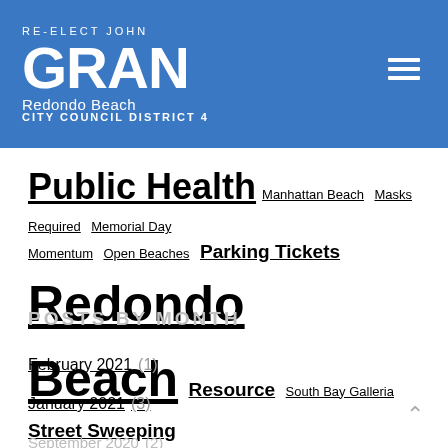RE-ELECT JOHN GRAN Redondo Beach CITY COUNCIL DISTRICT 4
Public Health Manhattan Beach Masks Required Memorial Day Momentum Open Beaches Parking Tickets Redondo Beach Resource South Bay Galleria Street Sweeping Veterans Day Veterans Memorial Zoom Call
POSTS BY MONTH
February 2021 (1)
January 2021 (3)
September 2020 (2)